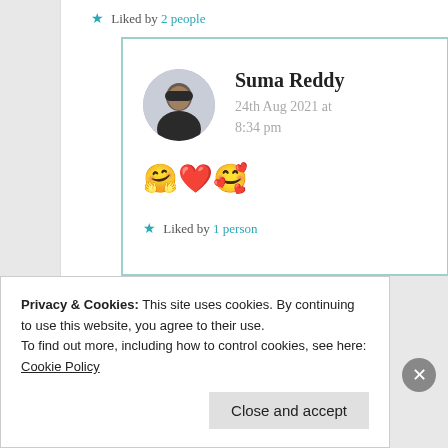★ Liked by 2 people
Suma Reddy
24th Aug 2021 at 8:34 pm
🤗❤️🥰
★ Liked by 1 person
Privacy & Cookies: This site uses cookies. By continuing to use this website, you agree to their use.
To find out more, including how to control cookies, see here: Cookie Policy
Close and accept